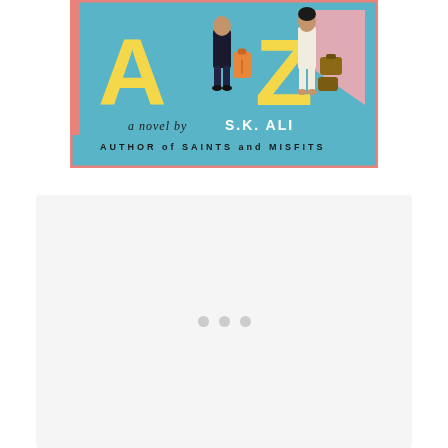[Figure (illustration): Book cover of 'Love from A to Z' by S.K. Ali. Light blue background with large yellow letters A and Z. Illustrated figures of people with luggage. Text reads 'a novel by S.K. ALI' in script and 'AUTHOR of SAINTS and MISFITS' in block letters. Pink and salmon border elements.]
[Figure (other): Light gray loading placeholder panel with three gray dots indicating loading content.]